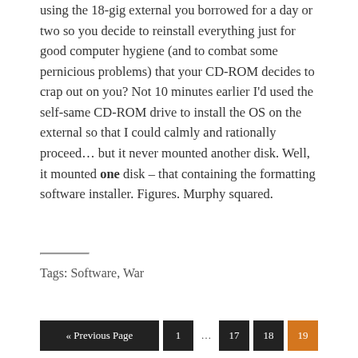using the 18-gig external you borrowed for a day or two so you decide to reinstall everything just for good computer hygiene (and to combat some pernicious problems) that your CD-ROM decides to crap out on you? Not 10 minutes earlier I'd used the self-same CD-ROM drive to install the OS on the external so that I could calmly and rationally proceed… but it never mounted another disk. Well, it mounted one disk – that containing the formatting software installer. Figures. Murphy squared.
Tags: Software, War
« Previous Page  1  ...  17  18  19